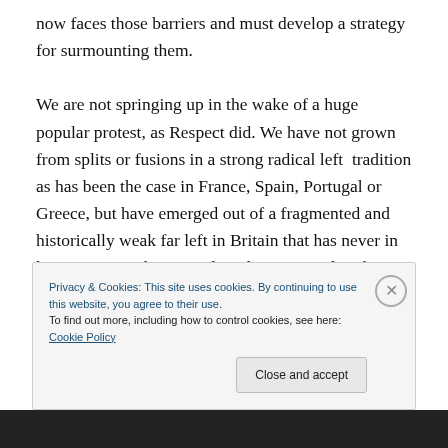now faces those barriers and must develop a strategy for surmounting them.

We are not springing up in the wake of a huge popular protest, as Respect did. We have not grown from splits or fusions in a strong radical left  tradition as has been the case in France, Spain, Portugal or Greece, but have emerged out of a fragmented and historically weak far left in Britain that has never in living memory been anything but marginal in the wider labour movement. And, of course, any hopes of electoral success in the short to
Privacy & Cookies: This site uses cookies. By continuing to use this website, you agree to their use.
To find out more, including how to control cookies, see here: Cookie Policy

Close and accept